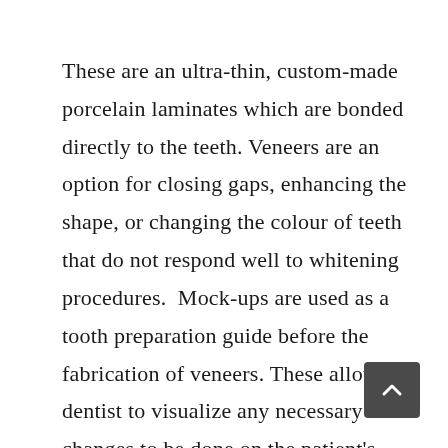These are an ultra-thin, custom-made porcelain laminates which are bonded directly to the teeth. Veneers are an option for closing gaps, enhancing the shape, or changing the colour of teeth that do not respond well to whitening procedures.  Mock-ups are used as a tooth preparation guide before the fabrication of veneers. These allow the dentist to visualize any necessary changes to be done on the patient's teeth with respect to shape, size, proportion, its relation to with gingival-contour, lip contour and smile line. It also gives clinicians an opportunity to check if they need any more